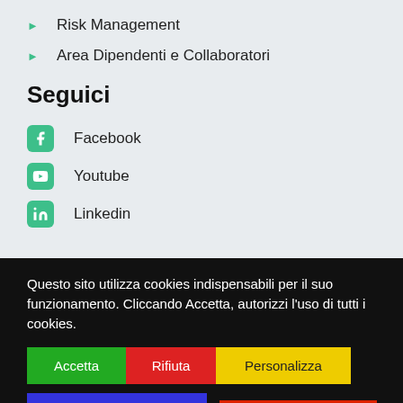Risk Management
Area Dipendenti e Collaboratori
Seguici
Facebook
Youtube
Linkedin
Questo sito utilizza cookies indispensabili per il suo funzionamento. Cliccando Accetta, autorizzi l'uso di tutti i cookies.
Accetta | Rifiuta | Personalizza | Continua a Leggere | Translate